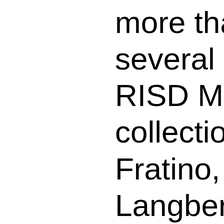more than 30 objects, several new acquisitions, RISD Museum's permanent collection—by artists including Fratino, Aaron Gilbert, Oliver Langberg, Deana Lawson, Catherine Opie, Jac Leirner, Pérez, and Salman Toor, the RISD Museum's